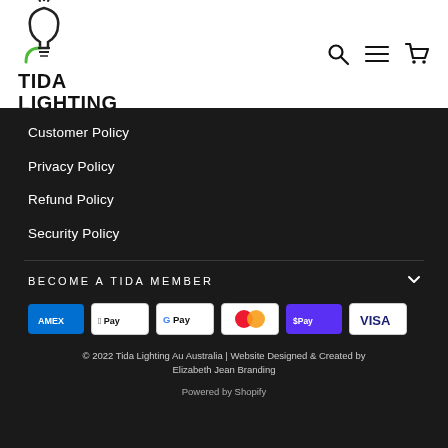[Figure (logo): Tida Lighting logo — stylized light bulb in green/black with text TIDA LIGHTING]
[Figure (infographic): Header navigation icons: search, hamburger menu, shopping cart]
Customer Policy
Privacy Policy
Refund Policy
Security Policy
BECOME A TIDA MEMBER
[Figure (infographic): Payment method badges: American Express (AMEX), Apple Pay, Google Pay, Mastercard, ShopPay, Visa]
© 2022 Tida Lighting Au Australia | Website Designed & Created by Elizabeth Jean Branding
Powered by Shopify